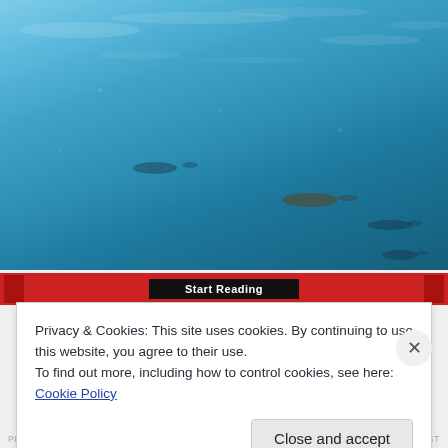[Figure (photo): Underwater photo showing blue ocean water with several fish or marine animal silhouettes visible at various depths, light shimmering on the water surface]
Start Reading
Privacy & Cookies: This site uses cookies. By continuing to use this website, you agree to their use.
To find out more, including how to control cookies, see here: Cookie Policy
Close and accept
PREVIOUS POST                    NEXT POST